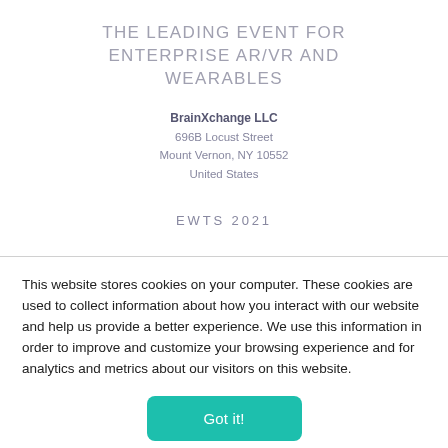THE LEADING EVENT FOR ENTERPRISE AR/VR AND WEARABLES
BrainXchange LLC
696B Locust Street
Mount Vernon, NY 10552
United States
EWTS 2021
This website stores cookies on your computer. These cookies are used to collect information about how you interact with our website and help us provide a better experience. We use this information in order to improve and customize your browsing experience and for analytics and metrics about our visitors on this website.
Got it!